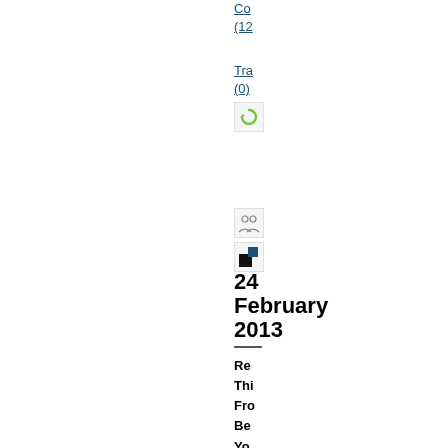Co
(12
Tra
(0)
[Figure (screenshot): Green refresh/circular arrow icon button]
[Figure (screenshot): Vertical blue separator line]
[Figure (screenshot): People/group icon button]
[Figure (screenshot): Small icon with black and blue squares]
24
February
2013
Re
Thi
Frc
Be
Yo
We
Bo
Ca
Me